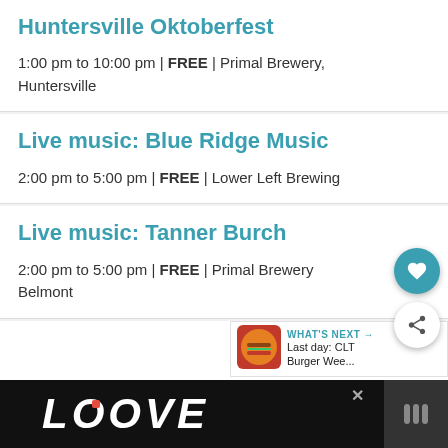Huntersville Oktoberfest
1:00 pm to 10:00 pm | FREE | Primal Brewery, Huntersville
Live music: Blue Ridge Music
2:00 pm to 5:00 pm | FREE | Lower Left Brewing
Live music: Tanner Burch
2:00 pm to 5:00 pm | FREE | Primal Brewery Belmont
Live music: Trevor Darden
2:00 pm to 5:00 pm | FREE | Primal Brewery,
[Figure (screenshot): WHAT'S NEXT banner with Burger Week promotion and LOOVE advertisement at bottom]